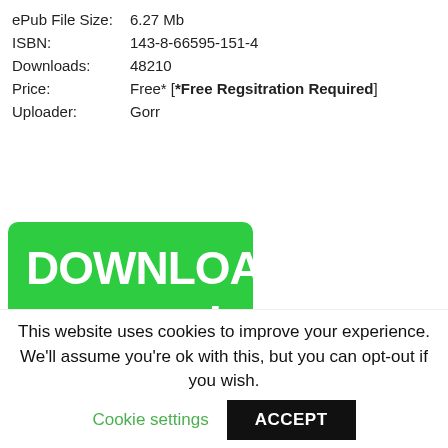| ePub File Size: | 6.27 Mb |
| ISBN: | 143-8-66595-151-4 |
| Downloads: | 48210 |
| Price: | Free* [*Free Regsitration Required] |
| Uploader: | Gorr |
[Figure (other): Green download button with white text reading DOWNLOAD PDF and a right arrow]
The system should include means to prevent the propelling thrust from altering significantly when
This website uses cookies to improve your experience. We'll assume you're ok with this, but you can opt-out if you wish. Cookie settings ACCEPT